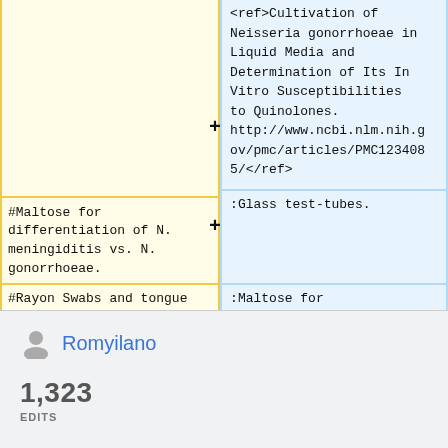<ref>Cultivation of Neisseria gonorrhoeae in Liquid Media and Determination of Its In Vitro Susceptibilities to Quinolones. http://www.ncbi.nlm.nih.gov/pmc/articles/PMC1234085/</ref>
#Maltose for differentiation of N. meningiditis vs. N. gonorrhoeae.
:Glass test-tubes.
#Rayon Swabs and tongue
:Maltose for
Romyilano
1,323
EDITS